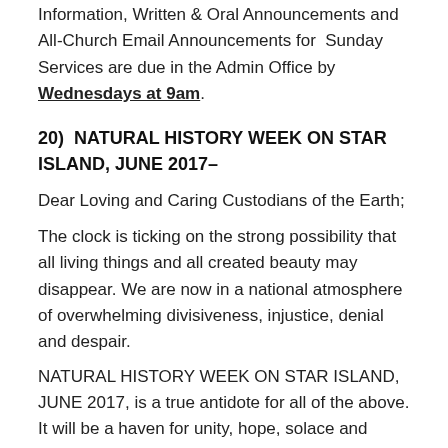Information, Written & Oral Announcements and All-Church Email Announcements for Sunday Services are due in the Admin Office by Wednesdays at 9am.
20)  NATURAL HISTORY WEEK ON STAR ISLAND, JUNE 2017–
Dear Loving and Caring Custodians of the Earth;
The clock is ticking on the strong possibility that all living things and all created beauty may disappear. We are now in a national atmosphere of overwhelming divisiveness, injustice, denial and despair.
NATURAL HISTORY WEEK ON STAR ISLAND, JUNE 2017, is a true antidote for all of the above. It will be a haven for unity, hope, solace and inner peace.